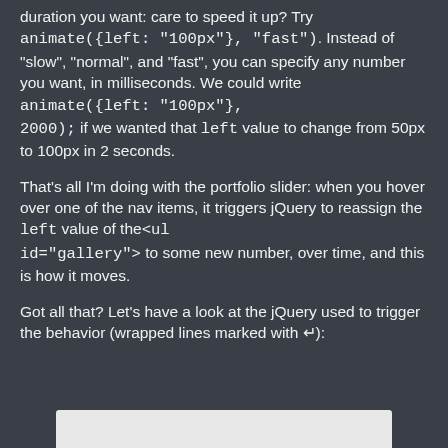duration you want: care to speed it up? Try animate({left: "100px"}, "fast"). Instead of "slow", "normal", and "fast", you can specify any number you want, in milliseconds. We could write animate({left: "100px"}, 2000); if we wanted that left value to change from 50px to 100px in 2 seconds.
That's all I'm doing with the portfolio slider: when you hover over one of the nav items, it triggers jQuery to reassign the left value of the<ul id="gallery"> to some new number, over time, and this is how it moves.
Got all that? Let's have a look at the jQuery used to trigger the behavior (wrapped lines marked with ↵):
[Figure (screenshot): White/light grey code box at the bottom of the page, partially visible]